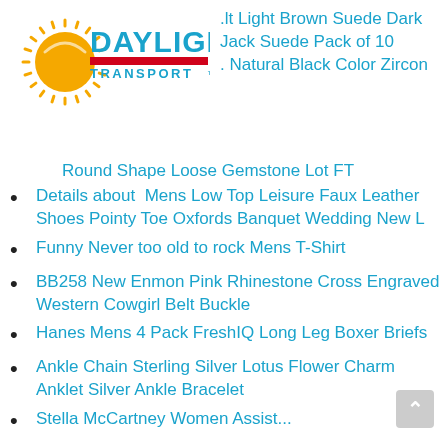[Figure (logo): Daylight Transport logo with sun graphic and company name]
it Light Brown Suede Dark Jack Suede Pack of 10
Natural Black Color Zircon Round Shape Loose Gemstone Lot FT
Details about Mens Low Top Leisure Faux Leather Shoes Pointy Toe Oxfords Banquet Wedding New L
Funny Never too old to rock Mens T-Shirt
BB258 New Enmon Pink Rhinestone Cross Engraved Western Cowgirl Belt Buckle
Hanes Mens 4 Pack FreshIQ Long Leg Boxer Briefs
Ankle Chain Sterling Silver Lotus Flower Charm Anklet Silver Ankle Bracelet
Stella McCartney Women Assist...